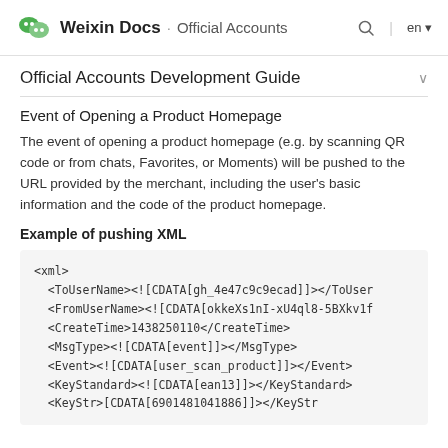Weixin Docs · Official Accounts
Official Accounts Development Guide
Event of Opening a Product Homepage
The event of opening a product homepage (e.g. by scanning QR code or from chats, Favorites, or Moments) will be pushed to the URL provided by the merchant, including the user's basic information and the code of the product homepage.
Example of pushing XML
<xml>
  <ToUserName><![CDATA[gh_4e47c9c9ecad]]></ToUser
  <FromUserName><![CDATA[okkeXs1nI-xU4ql8-5BXkv1f
  <CreateTime>1438250110</CreateTime>
  <MsgType><![CDATA[event]]></MsgType>
  <Event><![CDATA[user_scan_product]]></Event>
  <KeyStandard><![CDATA[ean13]]></KeyStandard>
  <KeyStr>[CDATA[6901481041886]]></KeyStr